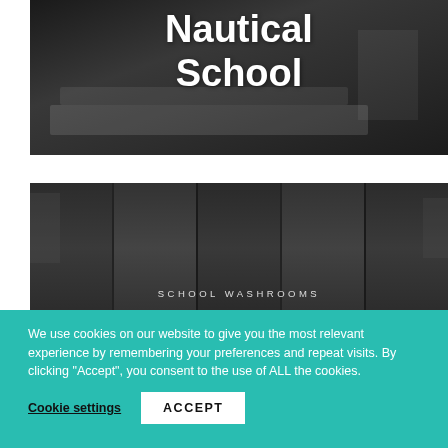[Figure (photo): Dark interior photo of what appears to be a nautical school facility with counter/equipment visible, with bold white title 'Nautical School' overlaid]
Nautical School
[Figure (photo): Dark interior photo showing school washrooms with curtain-like partitions, labeled 'SCHOOL WASHROOMS' at the bottom]
SCHOOL WASHROOMS
We use cookies on our website to give you the most relevant experience by remembering your preferences and repeat visits. By clicking “Accept”, you consent to the use of ALL the cookies.
Cookie settings
ACCEPT